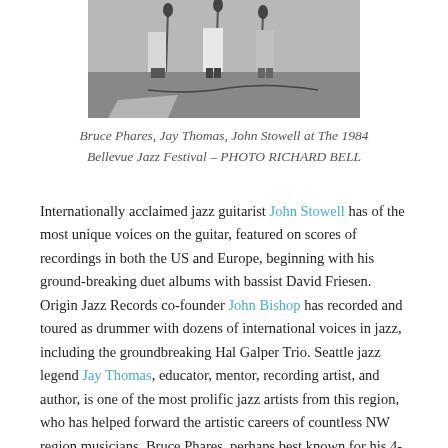[Figure (photo): Black and white photo of musicians on stage at an outdoor jazz festival, partial view showing legs and instruments]
Bruce Phares, Jay Thomas, John Stowell at The 1984 Bellevue Jazz Festival – PHOTO RICHARD BELL
Internationally acclaimed jazz guitarist John Stowell has of the most unique voices on the guitar, featured on scores of recordings in both the US and Europe, beginning with his ground-breaking duet albums with bassist David Friesen. Origin Jazz Records co-founder John Bishop has recorded and toured as drummer with dozens of international voices in jazz, including the groundbreaking Hal Galper Trio. Seattle jazz legend Jay Thomas, educator, mentor, recording artist, and author, is one of the most prolific jazz artists from this region, who has helped forward the artistic careers of countless NW region musicians. Bruce Phares, perhaps best known for his 4-decade duet-relationship with legendary pianist Overton